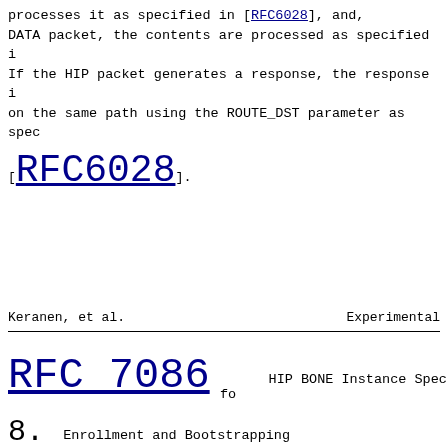processes it as specified in [RFC6028], and, if it is a DATA packet, the contents are processed as specified i If the HIP packet generates a response, the response i on the same path using the ROUTE_DST parameter as spec [RFC6028].
Keranen, et al.                    Experimental
RFC 7086                    HIP BONE Instance Spec fo
8.  Enrollment and Bootstrapping